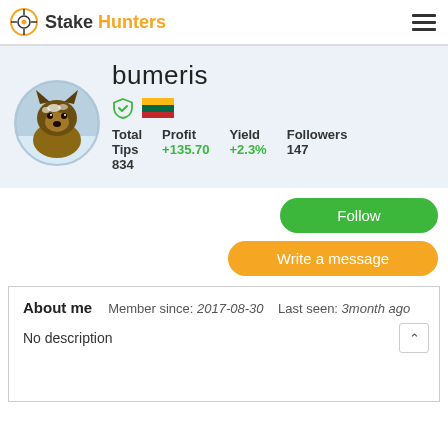StakeHunters
[Figure (photo): German Shepherd dog profile photo with snowy background, circular avatar]
bumeris
Total Tips: 834 | Profit: +135.70 | Yield: +2.3% | Followers: 147
Follow
Write a message
About me   Member since: 2017-08-30   Last seen: 3month ago

No description